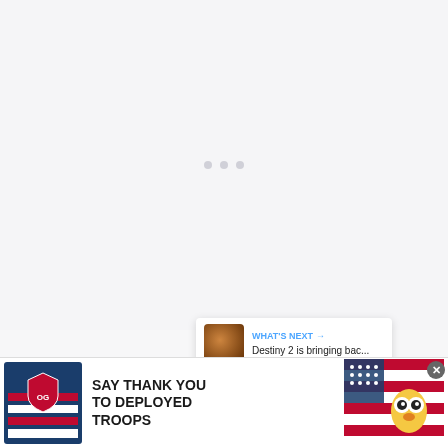[Figure (other): Loading placeholder area with three grey dots indicating content is loading, light grey background]
[Figure (other): Blue circular heart/like button (favourite), count bubble showing 1, pink scroll-to-top button with up arrow, and a 'What's Next' panel showing 'Destiny 2 is bringing bac...' with a thumbnail]
Apple Maps is also getting a big new update in iOS 14, with a new cycling-specific navigation, among other things. It can alert you to hills, stairs, and whether you will need to carry your bike going
[Figure (other): Advertisement banner: Operation Gratitude - SAY THANK YOU TO DEPLOYED TROOPS, with logo and cartoon character on the right, and a close X button]